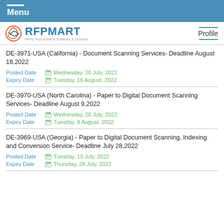Menu
[Figure (logo): RFPMART logo with tagline: RFPs, Procurement Solutions & Services]
Profile
DE-3971-USA (California) - Document Scanning Services- Deadline August 16,2022
Posted Date: Wednesday, 20 July, 2022
Expiry Date: Tuesday, 16 August, 2022
DE-3970-USA (North Carolina) - Paper to Digital Document Scanning Services- Deadline August 9,2022
Posted Date: Wednesday, 20 July, 2022
Expiry Date: Tuesday, 9 August, 2022
DE-3969-USA (Georgia) - Paper to Digital Document Scanning, Indexing and Conversion Service- Deadline July 28,2022
Posted Date: Tuesday, 19 July, 2022
Expiry Date: Thursday, 28 July, 2022